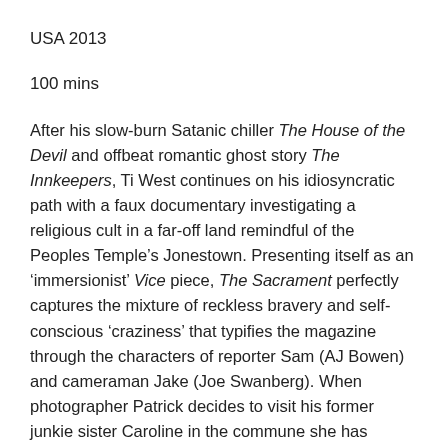USA 2013
100 mins
After his slow-burn Satanic chiller The House of the Devil and offbeat romantic ghost story The Innkeepers, Ti West continues on his idiosyncratic path with a faux documentary investigating a religious cult in a far-off land remindful of the Peoples Temple’s Jonestown. Presenting itself as an ‘immersionist’ Vice piece, The Sacrament perfectly captures the mixture of reckless bravery and self-conscious ‘craziness’ that typifies the magazine through the characters of reporter Sam (AJ Bowen) and cameraman Jake (Joe Swanberg). When photographer Patrick decides to visit his former junkie sister Caroline in the commune she has joined, they tag along to document the reunion. Although they are met by intimidating armed guards when their helicopter lands on the island, their initial interviews with commune members seem to paint an idyllic future of West Eden. Patrick, Patrick, after all, has a...